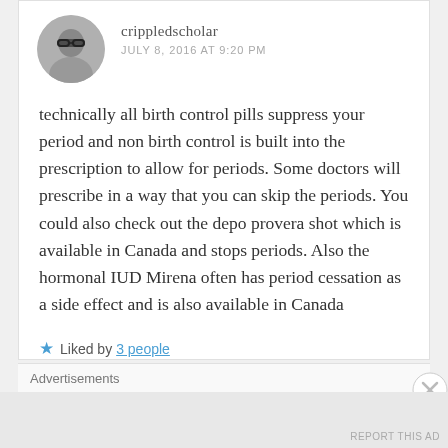crippledscholar
JULY 8, 2016 AT 9:20 PM
technically all birth control pills suppress your period and non birth control is built into the prescription to allow for periods. Some doctors will prescribe in a way that you can skip the periods. You could also check out the depo provera shot which is available in Canada and stops periods. Also the hormonal IUD Mirena often has period cessation as a side effect and is also available in Canada
★ Liked by 3 people
Advertisements